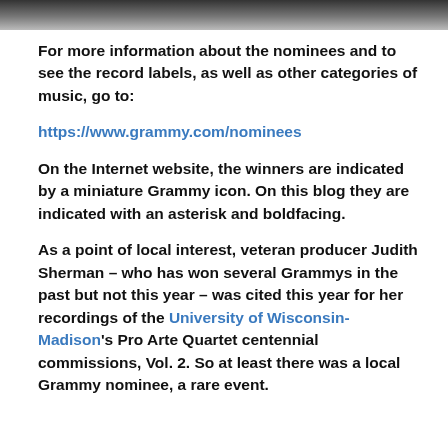[Figure (photo): Partial black and white photograph at the top of the page, cropped to show only the bottom edge.]
For more information about the nominees and to see the record labels, as well as other categories of music, go to:
https://www.grammy.com/nominees
On the Internet website, the winners are indicated by a miniature Grammy icon. On this blog they are indicated with an asterisk and boldfacing.
As a point of local interest, veteran producer Judith Sherman – who has won several Grammys in the past but not this year – was cited this year for her recordings of the University of Wisconsin-Madison's Pro Arte Quartet centennial commissions, Vol. 2. So at least there was a local Grammy nominee, a rare event.